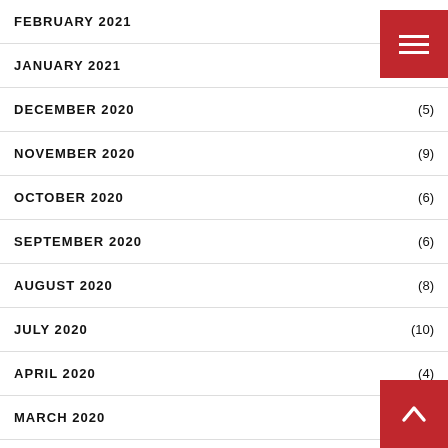FEBRUARY 2021 (4)
JANUARY 2021 (12)
DECEMBER 2020 (5)
NOVEMBER 2020 (9)
OCTOBER 2020 (6)
SEPTEMBER 2020 (6)
AUGUST 2020 (8)
JULY 2020 (10)
APRIL 2020 (4)
MARCH 2020
FEBRUARY 2020 (2)